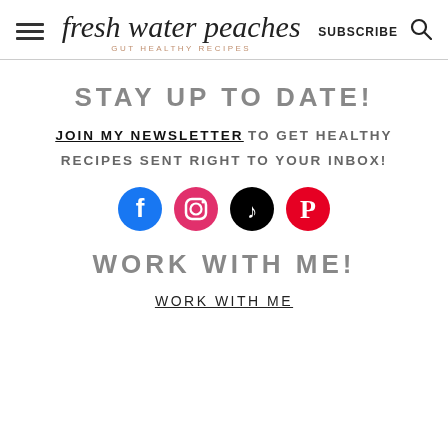fresh water peaches — GUT HEALTHY RECIPES — SUBSCRIBE
STAY UP TO DATE!
JOIN MY NEWSLETTER TO GET HEALTHY RECIPES SENT RIGHT TO YOUR INBOX!
[Figure (infographic): Row of four social media icons: Facebook (blue circle), Instagram (pink circle), TikTok (black circle), Pinterest (red circle)]
WORK WITH ME!
WORK WITH ME